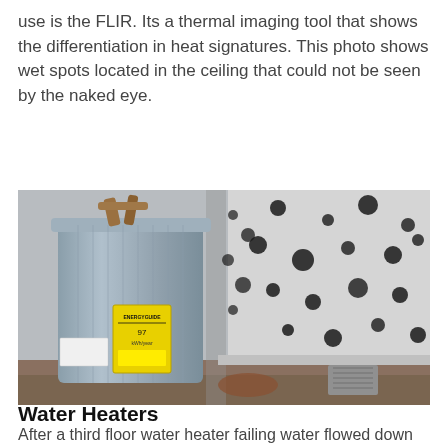use is the FLIR. Its a thermal imaging tool that shows the differentiation in heat signatures. This photo shows wet spots located in the ceiling that could not be seen by the naked eye.
[Figure (photo): Photo of a gray water heater in a corner with extensive black mold growth covering the surrounding walls. The water heater has a yellow EnergyGuide label. The floor shows water damage and rust staining.]
Water Heaters
After a third floor water heater failing water flowed down...